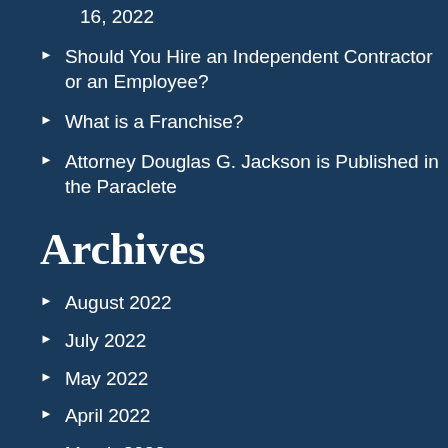16, 2022
Should You Hire an Independent Contractor or an Employee?
What is a Franchise?
Attorney Douglas G. Jackson is Published in the Paraclete
Archives
August 2022
July 2022
May 2022
April 2022
March 2022